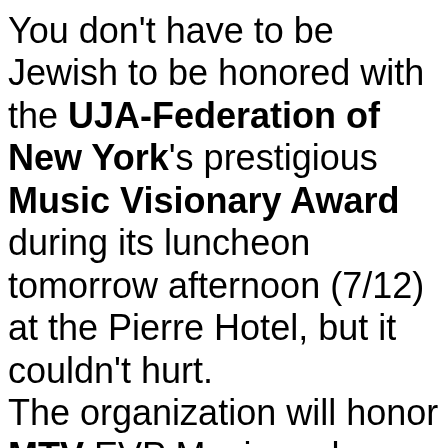You don't have to be Jewish to be honored with the UJA-Federation of New York's prestigious Music Visionary Award during its luncheon tomorrow afternoon (7/12) at the Pierre Hotel, but it couldn't hurt. The organization will honor MTV EVP Music and Talent Strategy Amy Doyle, who recently married into the faith, while VH1 EVP Talent and